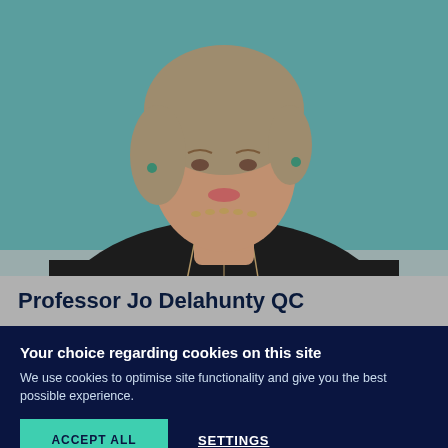[Figure (photo): Professional headshot portrait of a woman with light hair wearing a black jacket and long necklace against a teal background]
Professor Jo Delahunty QC
Your choice regarding cookies on this site
We use cookies to optimise site functionality and give you the best possible experience.
ACCEPT ALL
SETTINGS